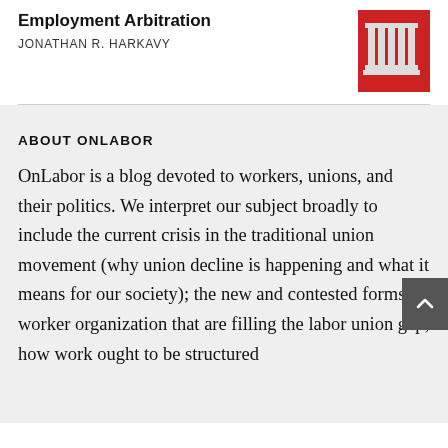Employment Arbitration
JONATHAN R. HARKAVY
ABOUT ONLABOR
OnLabor is a blog devoted to workers, unions, and their politics. We interpret our subject broadly to include the current crisis in the traditional union movement (why union decline is happening and what it means for our society); the new and contested forms of worker organization that are filling the labor union gap; how work ought to be structured